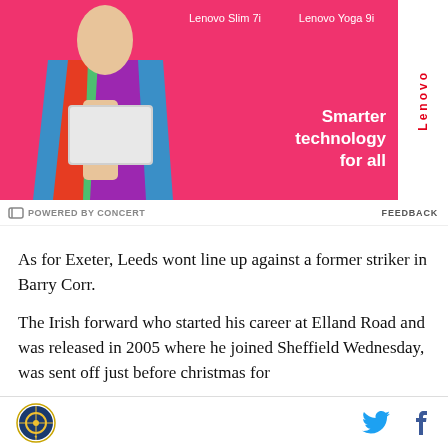[Figure (photo): Lenovo advertisement banner in hot pink showing a person holding a white laptop, with product labels 'Lenovo Slim 7i' and 'Lenovo Yoga 9i', tagline 'Smarter technology for all' and Lenovo logo on white sidebar]
POWERED BY CONCERT    FEEDBACK
As for Exeter, Leeds wont line up against a former striker in Barry Corr.
The Irish forward who started his career at Elland Road and was released in 2005 where he joined Sheffield Wednesday, was sent off just before christmas for
[logo] [Twitter icon] [Facebook icon]